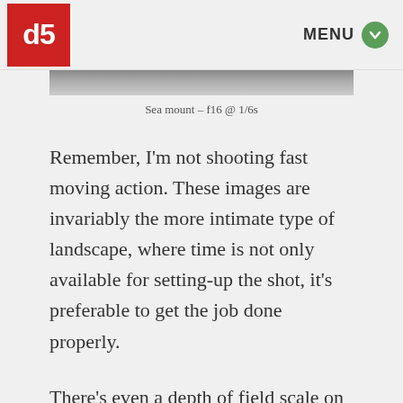[Figure (logo): Red square logo with white stylized 'd5' lettering]
MENU
[Figure (photo): Cropped bottom edge of a landscape photograph, showing dark rocky or sea mount scenery]
Sea mount – f16 @ 1/6s
Remember, I'm not shooting fast moving action. These images are invariably the more intimate type of landscape, where time is not only available for setting-up the shot, it's preferable to get the job done properly.
There's even a depth of field scale on